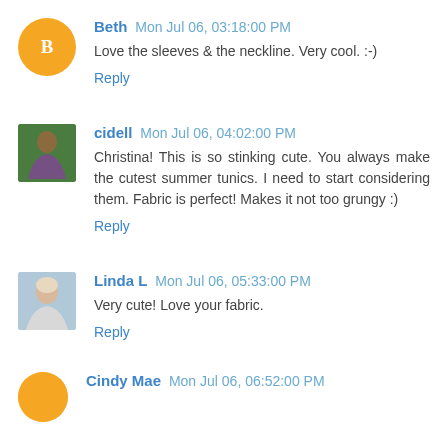Beth Mon Jul 06, 03:18:00 PM
Love the sleeves & the neckline. Very cool. :-)
Reply
cidell Mon Jul 06, 04:02:00 PM
Christina! This is so stinking cute. You always make the cutest summer tunics. I need to start considering them. Fabric is perfect! Makes it not too grungy :)
Reply
Linda L Mon Jul 06, 05:33:00 PM
Very cute! Love your fabric.
Reply
Cindy Mae Mon Jul 06, 06:52:00 PM